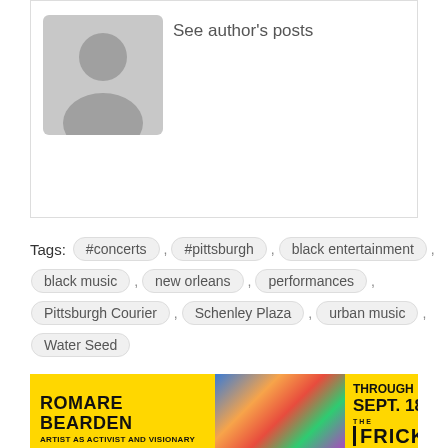[Figure (illustration): Gray placeholder avatar silhouette with 'See author's posts' link text]
Tags: #concerts , #pittsburgh , black entertainment , black music , new orleans , performances , Pittsburgh Courier , Schenley Plaza , urban music , Water Seed
[Figure (infographic): Advertisement banner for Romare Bearden: Artist as Activist and Visionary at The Frick Pittsburgh, Through Sept. 18]
Comments